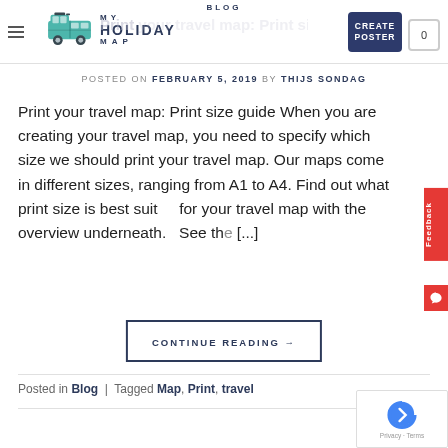BLOG | MY HOLIDAY MAP | CREATE POSTER | 0
POSTED ON FEBRUARY 5, 2019 BY THIJS SONDAG
Print your travel map: Print size guide When you are creating your travel map, you need to specify which size we should print your travel map. Our maps come in different sizes, ranging from A1 to A4. Find out what print size is best suited for your travel map with the overview underneath.   See th[...]
CONTINUE READING →
Posted in Blog | Tagged Map, Print, travel